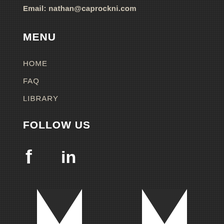Email: nathan@caprockni.com
MENU
HOME
FAQ
LIBRARY
FOLLOW US
[Figure (illustration): Social media icons: Facebook (f) and LinkedIn (in)]
[Figure (logo): Partial logo at bottom of page, white M-shaped graphic on dark background]